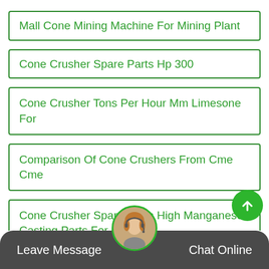Mall Cone Mining Machine For Mining Plant
Cone Crusher Spare Parts Hp 300
Cone Crusher Tons Per Hour Mm Limesone For
Comparison Of Cone Crushers From Cme Cme
Cone Crusher Spare Parts High Manganese Casting Parts For Crusher
Leave Message   Chat Online